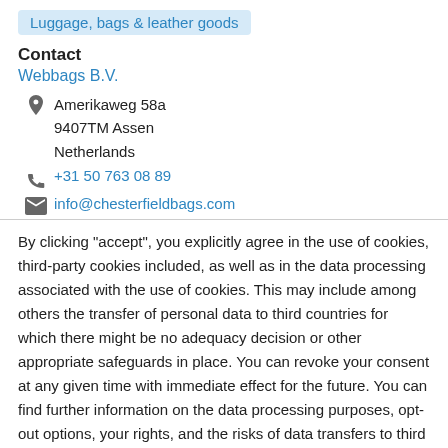Luggage, bags & leather goods
Contact
Webbags B.V.
Amerikaweg 58a
9407TM Assen
Netherlands
+31 50 763 08 89
info@chesterfieldbags.com
By clicking "accept", you explicitly agree in the use of cookies, third-party cookies included, as well as in the data processing associated with the use of cookies. This may include among others the transfer of personal data to third countries for which there might be no adequacy decision or other appropriate safeguards in place. You can revoke your consent at any given time with immediate effect for the future. You can find further information on the data processing purposes, opt-out options, your rights, and the risks of data transfers to third countries here.
ACCEPT